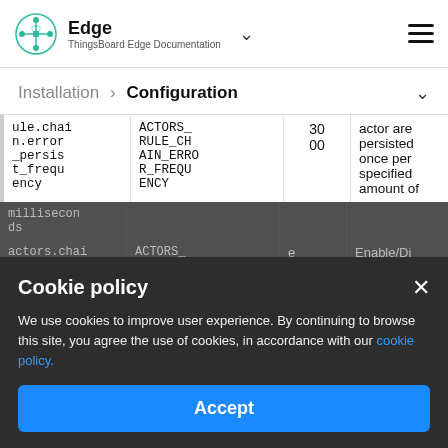Edge — ThingsBoard Edge Documentation
Installation > Configuration
| Property | Environment Variable | Default Value | Description |
| --- | --- | --- | --- |
| rule.chain.error_persist_frequency | ACTORS_RULE_CHAIN_ERROR_FREQUENCY | 3000 | actor are persisted once per specified amount of milliseconds |
| actors.rule.chain.debug_mode_rate_limits_per_tenant.enabled | ACTORS_RULE_CHAIN_DEBUG_MODE_RATE_LIMIT_... | e | Enable/Disable the rate limit of persisted debug |
Cookie policy
We use cookies to improve user experience. By continuing to browse this site, you agree the use of cookies, in accordance with our cookie policy.
Accept